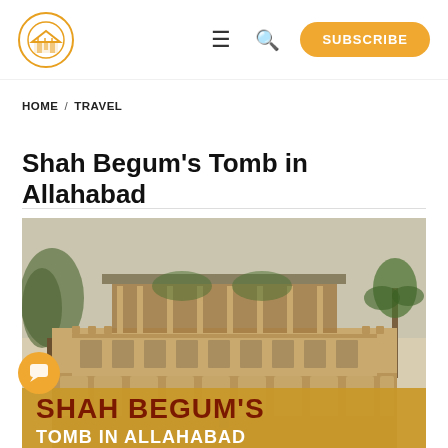HOME / TRAVEL
Shah Begum's Tomb in Allahabad
[Figure (illustration): Historic watercolor/engraving illustration of Shah Begum's Tomb in Allahabad, showing a multi-storey Mughal-style building with arched windows, ornate balustrades, and a flat roof pavilion, surrounded by trees. An overlay text box at the bottom reads 'SHAH BEGUM'S TOMB IN ALLAHABAD' in dark red and white bold capital letters on a golden-amber background.]